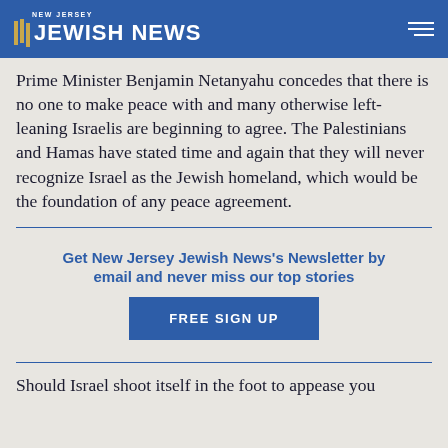NEW JERSEY JEWISH NEWS
Prime Minister Benjamin Netanyahu concedes that there is no one to make peace with and many otherwise left-leaning Israelis are beginning to agree. The Palestinians and Hamas have stated time and again that they will never recognize Israel as the Jewish homeland, which would be the foundation of any peace agreement.
Get New Jersey Jewish News's Newsletter by email and never miss our top stories
FREE SIGN UP
Should Israel shoot itself in the foot to appease you